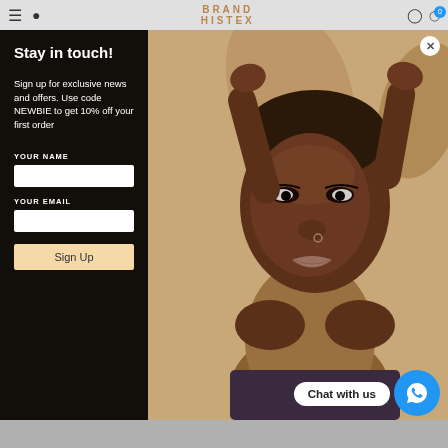BRAND HISTEX — navigation bar with hamburger, search, user, and cart icons
[Figure (photo): Close-up portrait of a young Black woman with hands behind her head, wearing subtle makeup including dramatic eye liner, against a warm beige/tan background]
Stay in touch!
Sign up for exclusive news and offers. Use code NEWBIE to get 10% off your first order
YOUR NAME
YOUR EMAIL
Sign Up
Chat with us